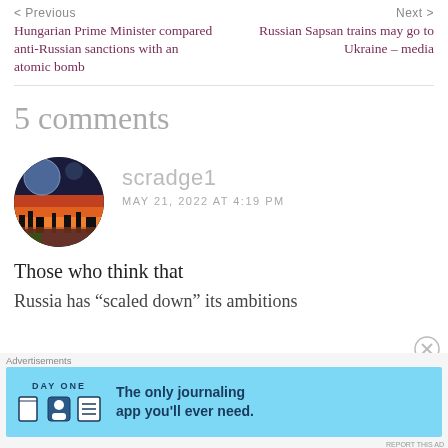< Previous    Next >
Hungarian Prime Minister compared anti-Russian sanctions with an atomic bomb
Russian Sapsan trains may go to Ukraine – media
5 comments
[Figure (photo): Circular avatar image with fantasy landscape showing moons, sunset sky, and silhouettes]
scradge1
MAY 21, 2022 AT 4:19 PM
Those who think that
Russia has “scaled down” its ambitions
[Figure (infographic): Advertisements banner: DAY ONE app - The only journaling app you'll ever need.]